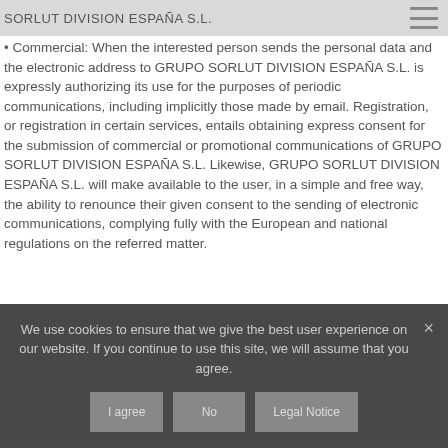SORLUT DIVISION ESPAÑA S.L.
Commercial: When the interested person sends the personal data and the electronic address to GRUPO SORLUT DIVISION ESPAÑA S.L. is expressly authorizing its use for the purposes of periodic communications, including implicitly those made by email. Registration, or registration in certain services, entails obtaining express consent for the submission of commercial or promotional communications of GRUPO SORLUT DIVISION ESPAÑA S.L. Likewise, GRUPO SORLUT DIVISION ESPAÑA S.L. will make available to the user, in a simple and free way, the ability to renounce their given consent to the sending of electronic communications, complying fully with the European and national regulations on the referred matter.
We use cookies to ensure that we give the best user experience on our website. If you continue to use this site, we will assume that you agree.
I agree | No | Legal Notice